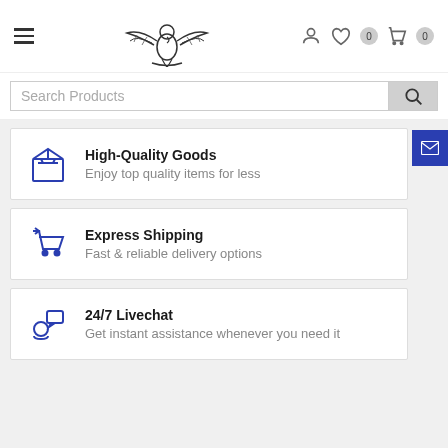[Figure (screenshot): E-commerce website header with hamburger menu, eagle logo, user icon, heart/wishlist icon with badge 0, and cart icon with badge 0]
[Figure (screenshot): Search bar with placeholder 'Search Products' and search button]
High-Quality Goods
Enjoy top quality items for less
Express Shipping
Fast & reliable delivery options
24/7 Livechat
Get instant assistance whenever you need it